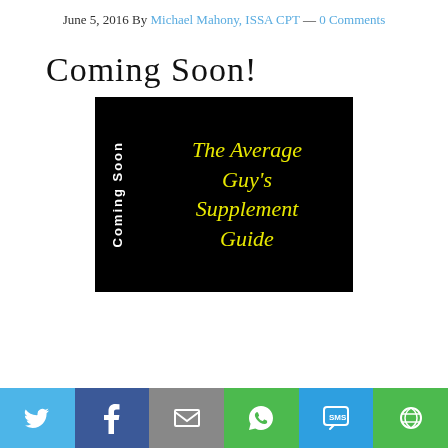June 5, 2016 By Michael Mahony, ISSA CPT — 0 Comments
Coming Soon!
[Figure (illustration): Book cover image on black background with white vertical 'Coming Soon' text on the left side and yellow italic text 'The Average Guy's Supplement Guide' on the right.]
[Figure (infographic): Social sharing bar with Twitter, Facebook, Email, WhatsApp, SMS, and More buttons.]